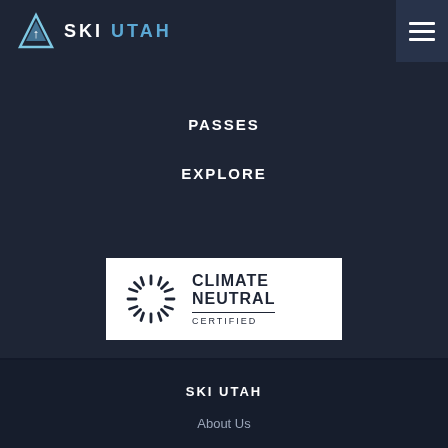SKI UTAH
PASSES
EXPLORE
[Figure (logo): Climate Neutral Certified badge with sunburst/radial lines logo mark and text CLIMATE NEUTRAL CERTIFIED]
SKI UTAH
About Us
Board of Directors